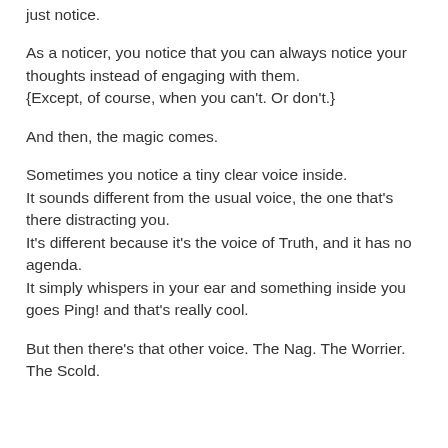just notice.
As a noticer, you notice that you can always notice your thoughts instead of engaging with them.
{Except, of course, when you can't. Or don't.}
And then, the magic comes.
Sometimes you notice a tiny clear voice inside.
It sounds different from the usual voice, the one that's there distracting you.
It's different because it's the voice of Truth, and it has no agenda.
It simply whispers in your ear and something inside you goes Ping! and that's really cool.
But then there's that other voice. The Nag. The Worrier. The Scold.